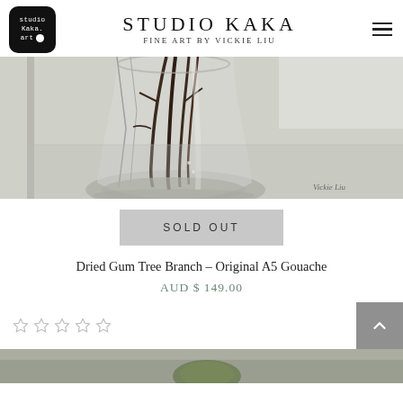STUDIO KAKA FINE ART by VICKIE LIU
[Figure (photo): Close-up painting of a glass vase with dried gum tree branches, signed 'Vickie Liu', rendered in gouache with muted grey-green tones]
SOLD OUT
Dried Gum Tree Branch – Original A5 Gouache
AUD $ 149.00
[Figure (photo): Partial view of another artwork at the bottom of the page, showing green tones]